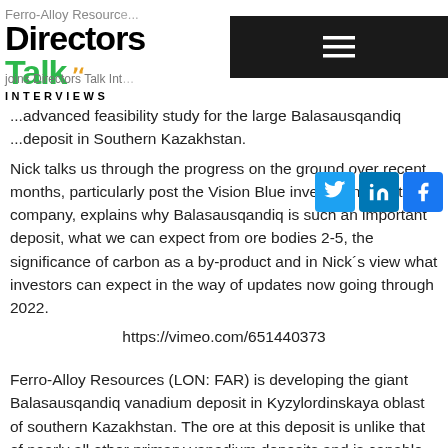Directors Talk Interviews — Ferro-Alloy Resources joins Directors Talk Interviews
...advanced feasibility study for the large Balasausqandiq ...deposit in Southern Kazakhstan. Nick talks us through the progress on the ground over recent months, particularly post the Vision Blue investment into the company, explains why Balasausqandiq is such an important deposit, what we can expect from ore bodies 2-5, the significance of carbon as a by-product and in Nick´s view what investors can expect in the way of updates now going through 2022.
https://vimeo.com/651440373
Ferro-Alloy Resources (LON: FAR) is developing the giant Balasausqandiq vanadium deposit in Kyzylordinskaya oblast of southern Kazakhstan. The ore at this deposit is unlike that of nearly all other primary vanadium deposits and is capable of being treated by a much lower cost process. It is planned that output will be increased in stages to reach 22,400 tonnes of vanadium pentoxide per year, mostly in the form of ferro-vanadium.